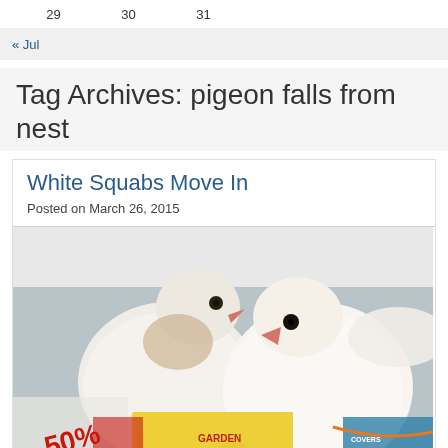29   30   31
« Jul
Tag Archives: pigeon falls from nest
White Squabs Move In
Posted on March 26, 2015
[Figure (photo): Two white squab pigeons sitting in a white container, with colorful packaging visible underneath them.]